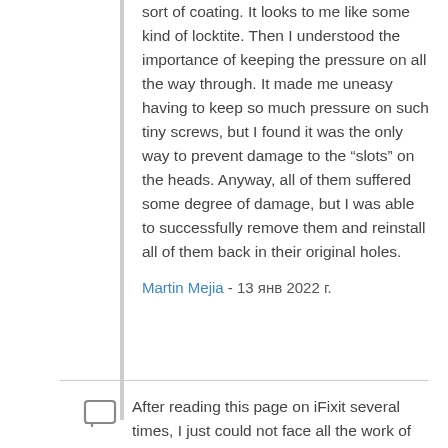sort of coating. It looks to me like some kind of locktite. Then I understood the importance of keeping the pressure on all the way through. It made me uneasy having to keep so much pressure on such tiny screws, but I found it was the only way to prevent damage to the “slots” on the heads. Anyway, all of them suffered some degree of damage, but I was able to successfully remove them and reinstall all of them back in their original holes.
Martin Mejia - 13 янв 2022 г.
After reading this page on iFixit several times, I just could not face all the work of replacing the Logic Boards on two MacBookPro 2011s even if I was prepared to pay approx 400 USD (which I wasn’t). Then I read the reviews of a couple of folks who’d stripped down their machines and put their logic boards in the oven and, it worked! I wondered, if I